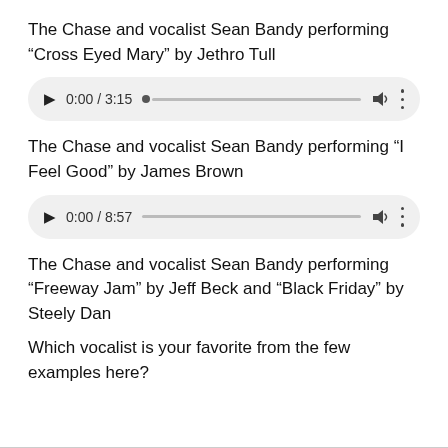The Chase and vocalist Sean Bandy performing “Cross Eyed Mary” by Jethro Tull
[Figure (other): Audio player showing 0:00 / 3:15 with play button, seek bar with dot indicator, volume icon, and more options icon]
The Chase and vocalist Sean Bandy performing “I Feel Good” by James Brown
[Figure (other): Audio player showing 0:00 / 8:57 with play button, seek bar, volume icon, and more options icon]
The Chase and vocalist Sean Bandy performing “Freeway Jam” by Jeff Beck and “Black Friday” by Steely Dan
Which vocalist is your favorite from the few examples here?